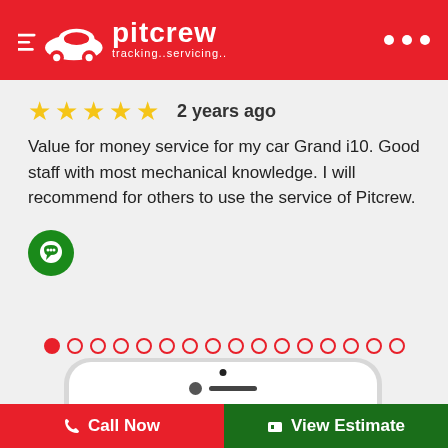[Figure (logo): Pitcrew logo with car icon, text 'pitcrew' and tagline 'tracking..servicing..' on red header bar]
2 years ago
Value for money service for my car Grand i10. Good staff with most mechanical knowledge. I will recommend for others to use the service of Pitcrew.
[Figure (illustration): Green circle chat icon button]
[Figure (illustration): Carousel pagination dots, first dot filled red, rest are outline circles]
[Figure (screenshot): Top portion of a smartphone showing the camera, speaker, and top of phone screen with red status bar showing wifi, battery 100% and time 12:30]
Call Now
View Estimate